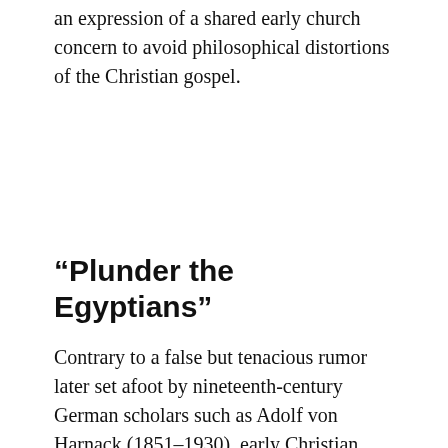an expression of a shared early church concern to avoid philosophical distortions of the Christian gospel.
“Plunder the Egyptians”
Contrary to a false but tenacious rumor later set afoot by nineteenth-century German scholars such as Adolf von Harnack (1851–1930), early Christian engagement with philosophy did not introduce unbiblical